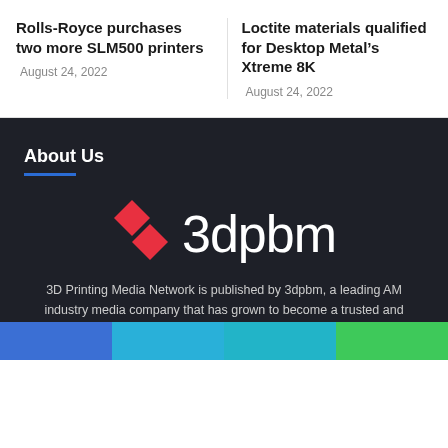Rolls-Royce purchases two more SLM500 printers
August 24, 2022
Loctite materials qualified for Desktop Metal’s Xtreme 8K
August 24, 2022
About Us
[Figure (logo): 3dpbm logo with red diamond shapes and white text '3dpbm' on dark background]
3D Printing Media Network is published by 3dpbm, a leading AM industry media company that has grown to become a trusted and influential resource for professional additive manufacturing.